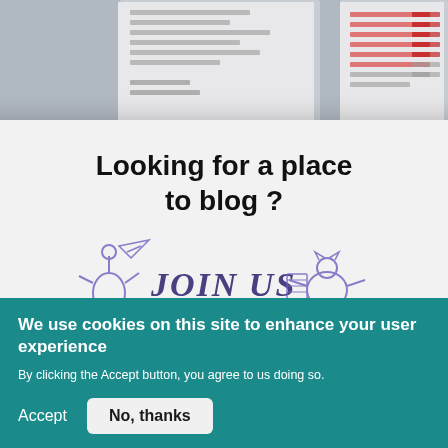[Figure (screenshot): Background of a webpage (greyed out) showing text content and a table-of-contents style list partially visible]
[Figure (screenshot): Modal popup dialog with close button (X), title 'Looking for a place to blog?', JOIN US illustration with hand-drawn characters, and text 'You can join the Dynamics Chronicles community to write']
We use cookies on this site to enhance your user experience
By clicking the Accept button, you agree to us doing so.
Accept
No, thanks